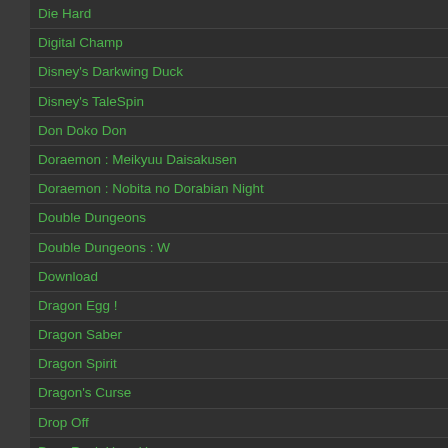Die Hard
Digital Champ
Disney's Darkwing Duck
Disney's TaleSpin
Don Doko Don
Doraemon : Meikyuu Daisakusen
Doraemon : Nobita no Dorabian Night
Double Dungeons
Double Dungeons : W
Download
Dragon Egg !
Dragon Saber
Dragon Spirit
Dragon's Curse
Drop Off
Drop Rock Hora Hora
Dungeon Explorer
Dungeons & Dragons : Order of the Griffon
Energy
Eternal City : Toshi Tenso Keikaku
F-1 Dream